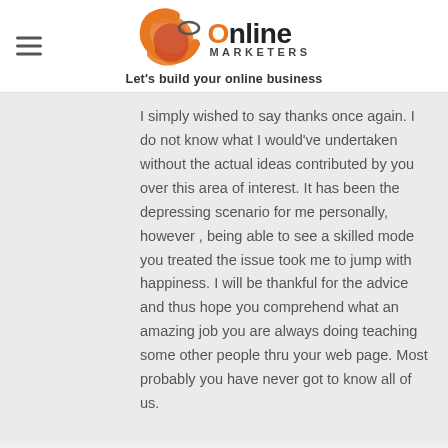[Figure (logo): JC Online Marketers logo with orange swirl icon, 'Online' text in dark with orange O, 'MARKETERS' subtitle, and tagline 'Let's build your online business']
I simply wished to say thanks once again. I do not know what I would've undertaken without the actual ideas contributed by you over this area of interest. It has been the depressing scenario for me personally, however , being able to see a skilled mode you treated the issue took me to jump with happiness. I will be thankful for the advice and thus hope you comprehend what an amazing job you are always doing teaching some other people thru your web page. Most probably you have never got to know all of us.